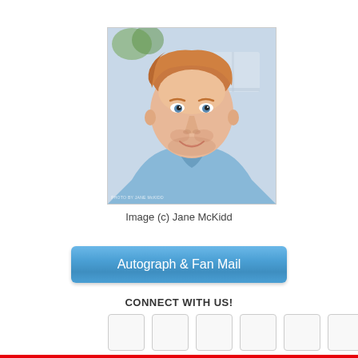[Figure (photo): Headshot of a smiling man with reddish-blonde hair wearing a light blue shirt, photographed outdoors with blurred background. Watermark reads 'PHOTO BY JANE McKIDO']
Image (c) Jane McKidd
Autograph & Fan Mail
CONNECT WITH US!
[Figure (other): Six empty social media icon placeholder boxes in a row]